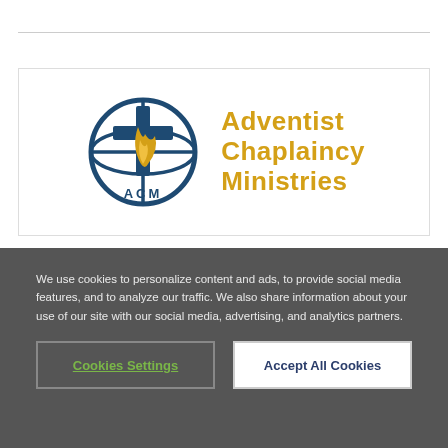[Figure (logo): ACM Adventist Chaplaincy Ministries logo — circular globe with cross and flame, with text 'Adventist Chaplaincy Ministries' in gold/orange]
We use cookies to personalize content and ads, to provide social media features, and to analyze our traffic. We also share information about your use of our site with our social media, advertising, and analytics partners.
Cookies Settings
Accept All Cookies